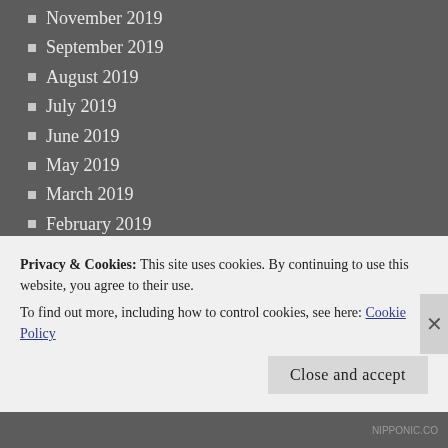November 2019
September 2019
August 2019
July 2019
June 2019
May 2019
March 2019
February 2019
January 2019
November 2018
October 2018
September 2018
August 2018
July 2018
June 2018
May 2018
April 2018
Privacy & Cookies: This site uses cookies. By continuing to use this website, you agree to their use.
To find out more, including how to control cookies, see here: Cookie Policy
NIPPONIC.CO